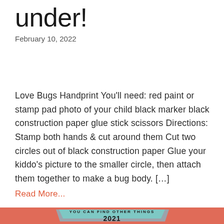under!
February 10, 2022
Love Bugs Handprint You'll need: red paint or stamp pad photo of your child black marker black construction paper glue stick scissors Directions: Stamp both hands & cut around them Cut two circles out of black construction paper Glue your kiddo's picture to the smaller circle, then attach them together to make a bug body. […]
Read More...
[Figure (infographic): Footer banner with coral/salmon background, teal and gray parallelogram shapes, bold text partially visible at top, and '2021' centered below]